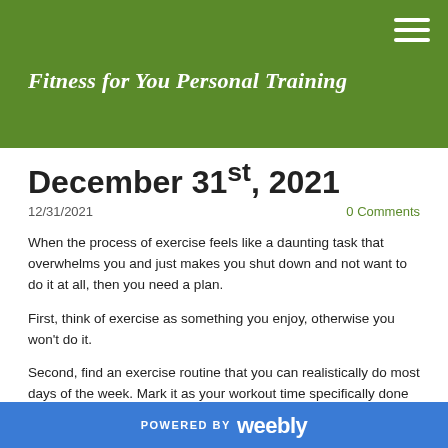Fitness for You Personal Training
December 31st, 2021
12/31/2021   0 Comments
When the process of exercise feels like a daunting task that overwhelms you and just makes you shut down and not want to do it at all, then you need a plan.
First, think of exercise as something you enjoy, otherwise you won't do it.
Second, find an exercise routine that you can realistically do most days of the week. Mark it as your workout time specifically done to raise your heart rate and work your muscles.
POWERED BY weebly